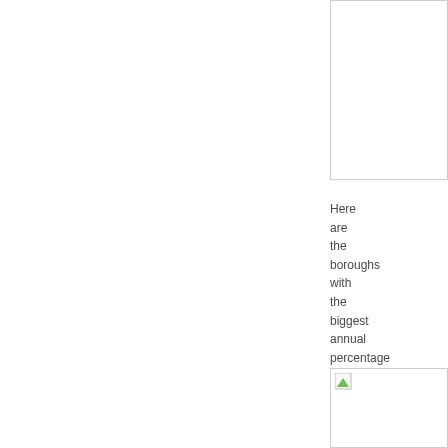[Figure (other): Image placeholder box at top right, partially visible, white with border]
Here are the boroughs with the biggest annual percentage changes:
[Figure (other): Image placeholder box at bottom right with broken image icon (green triangle/leaf icon)]